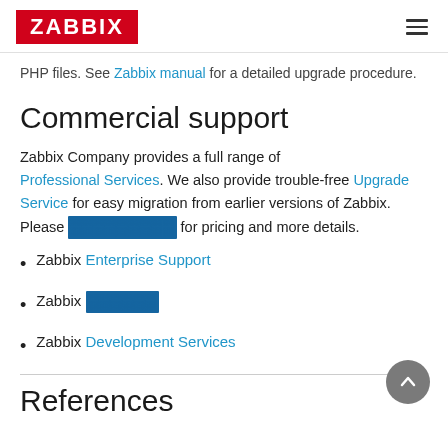ZABBIX
PHP files. See Zabbix manual for a detailed upgrade procedure.
Commercial support
Zabbix Company provides a full range of Professional Services. We also provide trouble-free Upgrade Service for easy migration from earlier versions of Zabbix. Please [redacted] for pricing and more details.
Zabbix Enterprise Support
Zabbix [redacted]
Zabbix Development Services
References